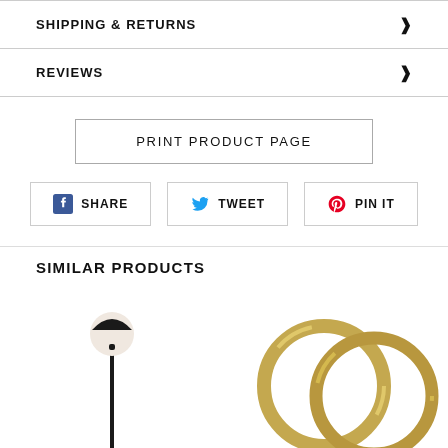SHIPPING & RETURNS
REVIEWS
PRINT PRODUCT PAGE
SHARE   TWEET   PIN IT
SIMILAR PRODUCTS
[Figure (photo): A modern floor lamp with a black thin pole and a round white sphere light at the top]
[Figure (photo): Two overlapping gold/brass circular rings or bangles]